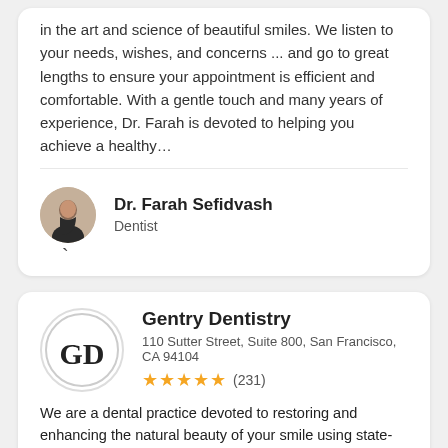in the art and science of beautiful smiles. We listen to your needs, wishes, and concerns ... and go to great lengths to ensure your appointment is efficient and comfortable. With a gentle touch and many years of experience, Dr. Farah is devoted to helping you achieve a healthy…
Dr. Farah Sefidvash
Dentist
Gentry Dentistry
110 Sutter Street, Suite 800, San Francisco, CA 94104
★★★★★ (231)
We are a dental practice devoted to restoring and enhancing the natural beauty of your smile using state-of-the-art procedures and a standard of excellence in personalized dental care. We are here to deliver the highest quality dental services that our patients deserve.